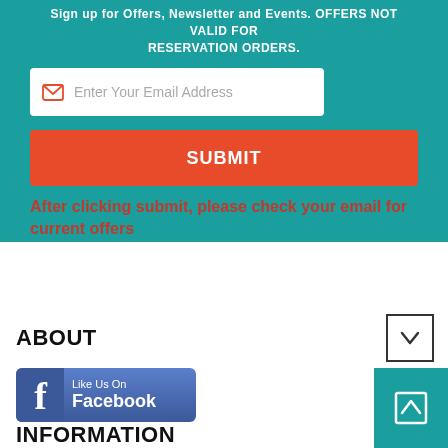Sign up for Offers, Newsletter and Events. OFFERS NOT VALID FOR RESERVATION ORDERS.
[Figure (screenshot): Email input field with mail icon and placeholder text 'Enter Your Email Address']
[Figure (screenshot): Red SUBMIT button]
After clicking submit, please check your email for current offers
ABOUT
[Figure (logo): Like Us On Facebook button with Facebook logo]
INFORMATION
[Figure (screenshot): Teal scroll-to-top button with upward arrow icon]